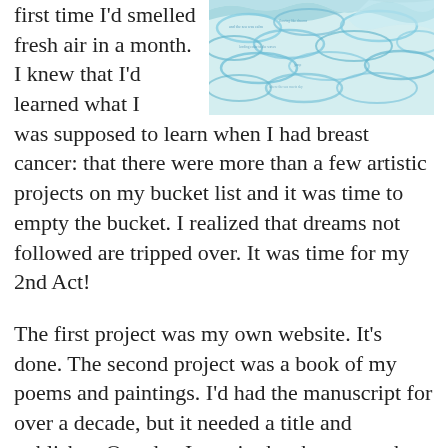first time I'd smelled fresh air in a month. I knew that I'd learned what I was supposed to learn when I had breast cancer: that there were more than a few artistic projects on my bucket list and it was time to empty the bucket. I realized that dreams not followed are tripped over. It was time for my 2nd Act!
[Figure (illustration): A painting with swirling blue and teal wave-like patterns with text written in the waves, on a light background.]
The first project was my own website. It's done. The second project was a book of my poems and paintings. I'd had the manuscript for over a decade, but it needed a title and publisher. One day I was in the shower—where so many good ideas happen—and the title “Lending Color to the Otherwise Absurd” popped into my head. I